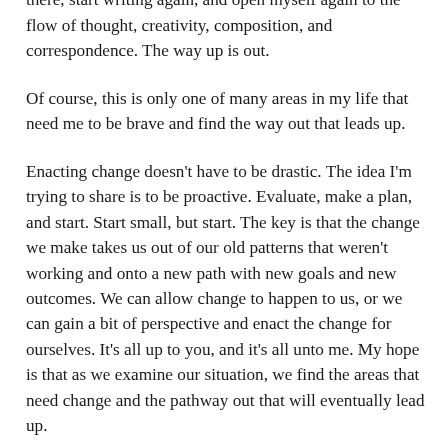plateaued, and stagnate feeling, I need to put myself out there, start writing again, and open myself again to the flow of thought, creativity, composition, and correspondence. The way up is out.
Of course, this is only one of many areas in my life that need me to be brave and find the way out that leads up.
Enacting change doesn't have to be drastic. The idea I'm trying to share is to be proactive. Evaluate, make a plan, and start. Start small, but start. The key is that the change we make takes us out of our old patterns that weren't working and onto a new path with new goals and new outcomes. We can allow change to happen to us, or we can gain a bit of perspective and enact the change for ourselves. It's all up to you, and it's all unto me. My hope is that as we examine our situation, we find the areas that need change and the pathway out that will eventually lead up.